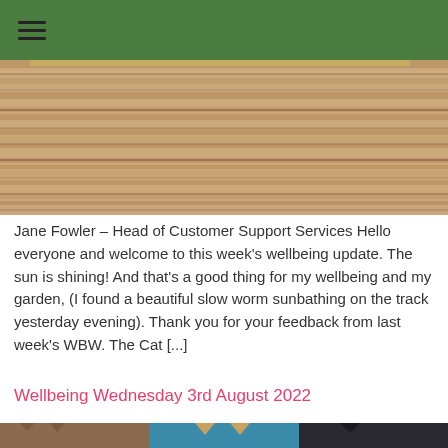☰ (hamburger menu icon)
[Figure (photo): Horizontal wooden planks/boards with a worn, rustic texture in tan and brown tones]
Jane Fowler – Head of Customer Support Services Hello everyone and welcome to this week's wellbeing update.  The sun is shining! And that's a good thing for my wellbeing and my garden, (I found a beautiful slow worm sunbathing on the track yesterday evening). Thank you for your feedback from last week's WBW.  The Cat [...]
Wellbeing Wednesday 3rd August 2022
[Figure (photo): Three cats partially visible at the bottom of the page — a sphinx cat on the left, a cat with large ears in the center against a blue background, and a dark cat on the right]